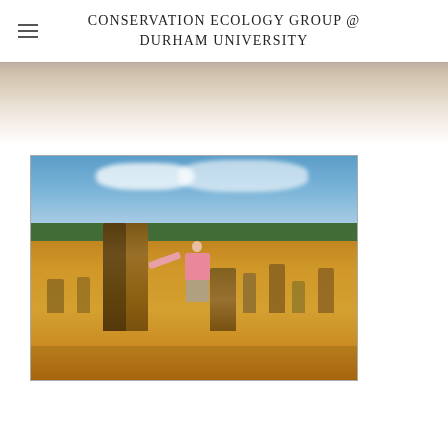CONSERVATION ECOLOGY GROUP @ DURHAM UNIVERSITY
[Figure (photo): A woman in a pink long-sleeve shirt and khaki pants standing next to a tall limestone pinnacle rock formation in a sandy desert landscape (the Pinnacles Desert, Western Australia). Blue sky with clouds in the background, green vegetation on the horizon, and numerous pinnacle formations scattered across the sandy ground.]